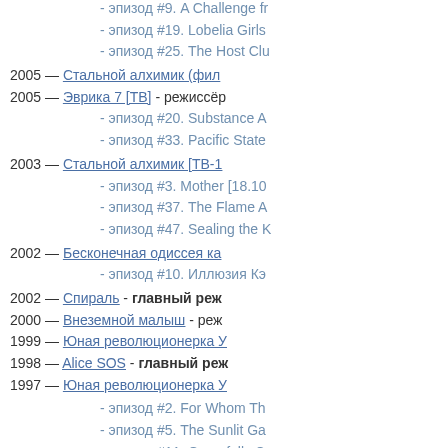- эпизод #9. A Challenge fr
- эпизод #19. Lobelia Girls
- эпизод #25. The Host Clu
2005 — Стальной алхимик (фил
2005 — Эврика 7 [ТВ] - режиссёр
- эпизод #20. Substance A
- эпизод #33. Pacific State
2003 — Стальной алхимик [ТВ-1
- эпизод #3. Mother [18.10
- эпизод #37. The Flame A
- эпизод #47. Sealing the K
2002 — Бесконечная одиссея ка
- эпизод #10. Иллюзия Кэ
2002 — Спираль - главный реж
2000 — Внеземной малыш - реж
1999 — Юная революционерка У
1998 — Alice SOS - главный реж
1997 — Юная революционерка У
- эпизод #2. For Whom Th
- эпизод #5. The Sunlit Ga
- эпизод #11. Gracefully C
- эпизод #25. Our Eternal A
- эпизод #32. Romance of
- эпизод #38. The Ends of